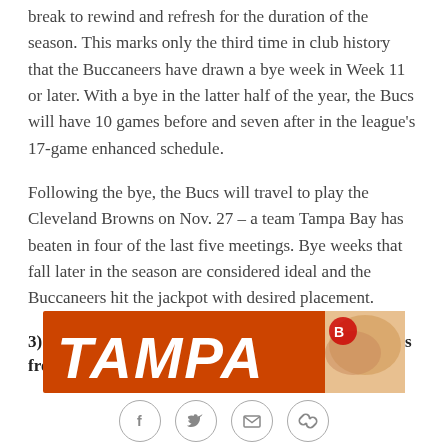break to rewind and refresh for the duration of the season. This marks only the third time in club history that the Buccaneers have drawn a bye week in Week 11 or later. With a bye in the latter half of the year, the Bucs will have 10 games before and seven after in the league's 17-game enhanced schedule.
Following the bye, the Bucs will travel to play the Cleveland Browns on Nov. 27 – a team Tampa Bay has beaten in four of the last five meetings. Bye weeks that fall later in the season are considered ideal and the Buccaneers hit the jackpot with desired placement.
3) The Bucs will face off against five division winners from the 2021 season.
[Figure (photo): Tampa Bay Buccaneers banner image with orange background showing 'TAMPA' text in large white bold italic letters and a Buccaneers logo on the right side with food image partially visible]